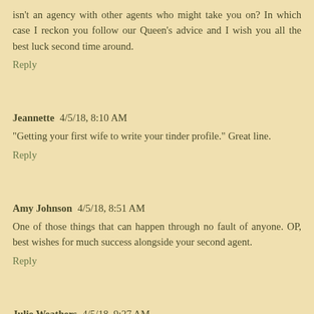isn't an agency with other agents who might take you on? In which case I reckon you follow our Queen's advice and I wish you all the best luck second time around.
Reply
Jeannette  4/5/18, 8:10 AM
"Getting your first wife to write your tinder profile." Great line.
Reply
Amy Johnson  4/5/18, 8:51 AM
One of those things that can happen through no fault of anyone. OP, best wishes for much success alongside your second agent.
Reply
Julie Weathers  4/5/18, 9:27 AM